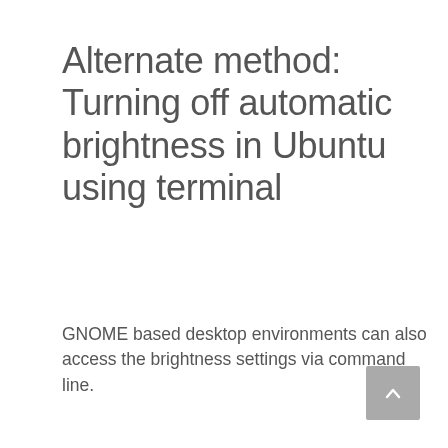Alternate method: Turning off automatic brightness in Ubuntu using terminal
GNOME based desktop environments can also access the brightness settings via command line.